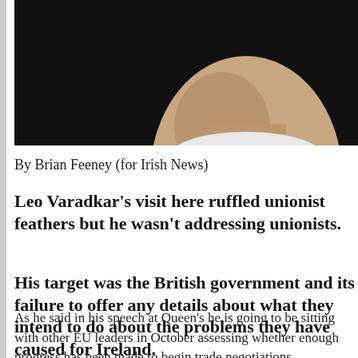[Figure (photo): Close-up photograph of a man's face (Leo Varadkar) against a dark background, cropped to show mainly chin and lower face area]
By Brian Feeney (for Irish News)
Leo Varadkar's visit here ruffled unionist feathers but he wasn't addressing unionists.
His target was the British government and its failure to offer any details about what they intend to do about the problems they have caused for Ireland.
As he said in his speech at Queen's he is going to be sitting with other EU leaders in October assessing whether enough progress has been made to begin trade negotiations.